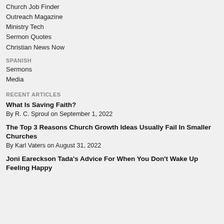Church Job Finder
Outreach Magazine
Ministry Tech
Sermon Quotes
Christian News Now
SPANISH
Sermons
Media
RECENT ARTICLES
What Is Saving Faith?
By R. C. Sproul on September 1, 2022
The Top 3 Reasons Church Growth Ideas Usually Fail In Smaller Churches
By Karl Vaters on August 31, 2022
Joni Eareckson Tada's Advice For When You Don't Wake Up Feeling Happy